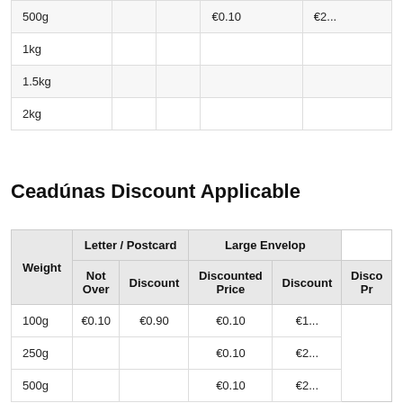| Weight Not Over |  |  | Discount | Disco... |
| --- | --- | --- | --- | --- |
| 500g |  |  | €0.10 | €2... |
| 1kg |  |  |  |  |
| 1.5kg |  |  |  |  |
| 2kg |  |  |  |  |
Ceadúnas Discount Applicable
| Weight Not Over | Letter / Postcard — Discount | Letter / Postcard — Discounted Price | Large Envelope — Discount | Large Envelope — Disco... Pr... |
| --- | --- | --- | --- | --- |
| 100g | €0.10 | €0.90 | €0.10 | €1... |
| 250g |  |  | €0.10 | €2... |
| 500g |  |  | €0.10 | €2... |